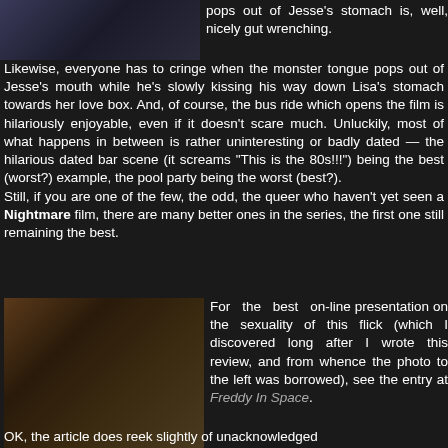[Figure (photo): Top image, partial view of a person, dark background]
pops out of Jesse's stomach is, well, nicely gut wrenching.
Likewise, everyone has to cringe when the monster tongue pops out of Jesse's mouth while he's slowly kissing his way down Lisa's stomach towards her love box. And, of course, the bus ride which opens the film is hilariously enjoyable, even if it doesn't scare much. Unluckily, most of what happens in between is rather uninteresting or badly dated — the hilarious dated bar scene (it screams "This is the 80s!!!") being the best (worst?) example, the pool party being the worst (best?).
Still, if you are one of the few, the odd, the queer who haven't yet seen a Nightmare film, there are many better ones in the series, the first one still remaining the best.
[Figure (photo): Person with curly red hair reaching up to shelves or cabinet, dark clothing, indoor setting]
For the best on-line presentation on the sexuality of this flick (which I discovered long after I wrote this review, and from whence the photo to the left was borrowed), see the entry at Freddy In Space.
OK, the article does reek slightly of unacknowledged